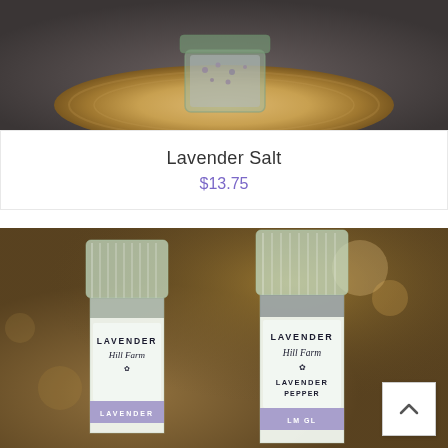[Figure (photo): Photo of a glass jar of lavender salt sitting on a wood slice, viewed from above]
Lavender Salt
$13.75
[Figure (photo): Photo of two Lavender Hill Farm grinder bottles side by side — one Lavender Salt and one Lavender Pepper — on a wooden surface with bokeh background]
[Figure (other): Back to top arrow button in bottom right corner]